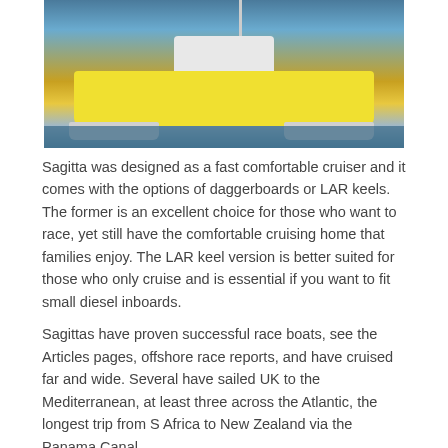[Figure (photo): Photograph of a yellow and white catamaran sailboat on the water, with mast and cabin visible.]
Sagitta was designed as a fast comfortable cruiser and it comes with the options of daggerboards or LAR keels. The former is an excellent choice for those who want to race, yet still have the comfortable cruising home that families enjoy. The LAR keel version is better suited for those who only cruise and is essential if you want to fit small diesel inboards.
Sagittas have proven successful race boats, see the Articles pages, offshore race reports, and have cruised far and wide. Several have sailed UK to the Mediterranean, at least three across the Atlantic, the longest trip from S Africa to New Zealand via the Panama Canal.
Owners Comments:
"Overall the Sagitta proved a comfortable boat at sea with an easy motion even in the lumpy conditions (25 - 35 knots of wind and sometimes a bit more). Altogether she makes a very attractive boat" Multihull International Boat Test 1992
In the summer of 2010 the Dutch Sagitta Glatisant (see photo